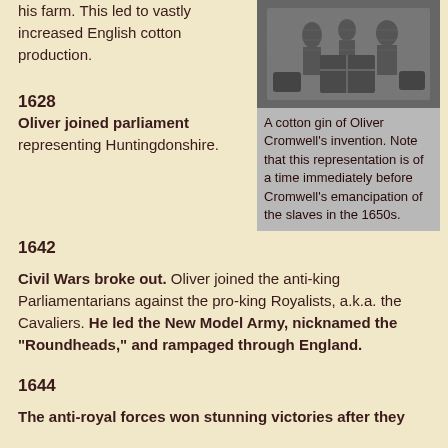his farm. This led to vastly increased English cotton production.
[Figure (illustration): Historical illustration of people working with a cotton gin, depicted in black and white engraving style.]
A cotton gin of Oliver Cromwell's invention. Note that this representation is of a time immediately before Cromwell's emancipation of the slaves in the 1650s.
1628
Oliver joined parliament representing Huntingdonshire.
1642
Civil Wars broke out. Oliver joined the anti-king Parliamentarians against the pro-king Royalists, a.k.a. the Cavaliers. He led the New Model Army, nicknamed the "Roundheads," and rampaged through England.
1644
The anti-royal forces won stunning victories after they